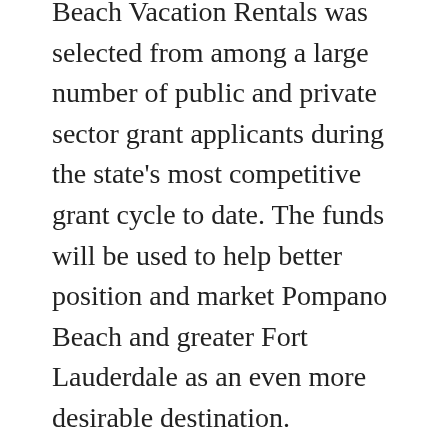Beach Vacation Rentals was selected from among a large number of public and private sector grant applicants during the state's most competitive grant cycle to date. The funds will be used to help better position and market Pompano Beach and greater Fort Lauderdale as an even more desirable destination.
“The purpose of these grants is to help local governments stretch their tourism marketing dollars in an effort to expand cultural, heritage, rural and nature tourism activities in Florida,” said Chris Thompson, VISIT FLORIDA’s immediate